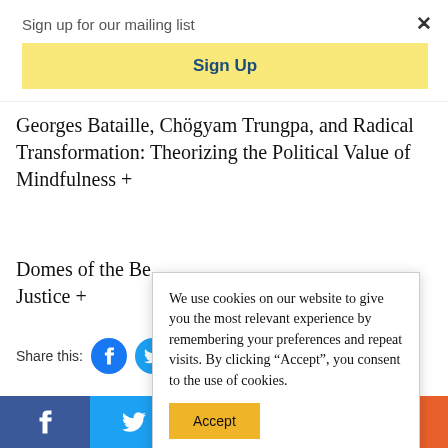Sign up for our mailing list
Sign Up
Georges Bataille, Chögyam Trungpa, and Radical Transformation: Theorizing the Political Value of Mindfulness +
Domes of the Be... Justice +
Share this:
We use cookies on our website to give you the most relevant experience by remembering your preferences and repeat visits. By clicking “Accept”, you consent to the use of cookies.
Accept